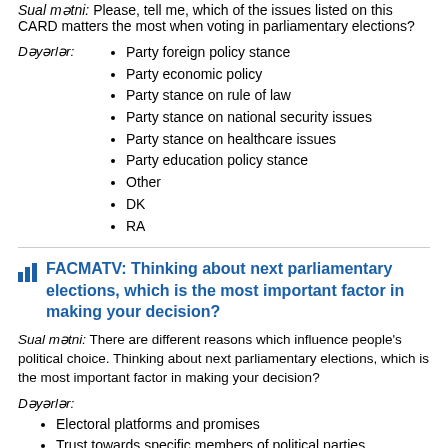Sual mətni: Please, tell me, which of the issues listed on this CARD matters the most when voting in parliamentary elections?
Dəyərlər:
Party foreign policy stance
Party economic policy
Party stance on rule of law
Party stance on national security issues
Party stance on healthcare issues
Party education policy stance
Other
DK
RA
FACMATV: Thinking about next parliamentary elections, which is the most important factor in making your decision?
Sual mətni: There are different reasons which influence people's political choice. Thinking about next parliamentary elections, which is the most important factor in making your decision?
Dəyərlər:
Electoral platforms and promises
Trust towards specific members of political parties